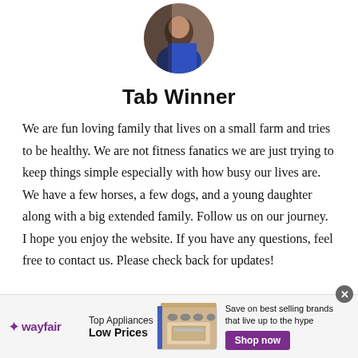[Figure (photo): Circular profile photo of a person wearing blue, cropped at top of page]
Tab Winner
We are fun loving family that lives on a small farm and tries to be healthy. We are not fitness fanatics we are just trying to keep things simple especially with how busy our lives are. We have a few horses, a few dogs, and a young daughter along with a big extended family. Follow us on our journey. I hope you enjoy the website. If you have any questions, feel free to contact us. Please check back for updates!
[Figure (screenshot): Wayfair advertisement banner: wayfair logo, Top Appliances Low Prices text, photo of a stove/range appliance, Save on best selling brands that live up to the hype, Shop now button in purple]